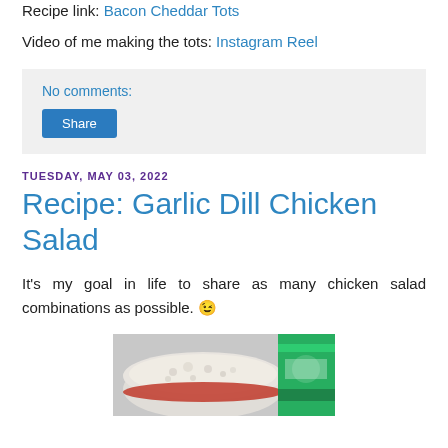Recipe link: Bacon Cheddar Tots
Video of me making the tots: Instagram Reel
No comments:
Share
TUESDAY, MAY 03, 2022
Recipe: Garlic Dill Chicken Salad
It's my goal in life to share as many chicken salad combinations as possible. 😊
[Figure (photo): Photo of a bowl of chicken salad and a green spice container]